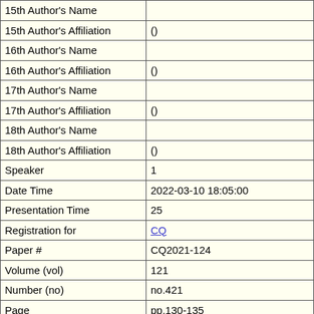| Field | Value |
| --- | --- |
| 15th Author's Name |  |
| 15th Author's Affiliation | () |
| 16th Author's Name |  |
| 16th Author's Affiliation | () |
| 17th Author's Name |  |
| 17th Author's Affiliation | () |
| 18th Author's Name |  |
| 18th Author's Affiliation | () |
| Speaker | 1 |
| Date Time | 2022-03-10 18:05:00 |
| Presentation Time | 25 |
| Registration for | CQ |
| Paper # | CQ2021-124 |
| Volume (vol) | 121 |
| Number (no) | no.421 |
| Page | pp.130-135 |
| #Pages | 6 |
| Date of Issue | 2022-03-02 (CQ) |